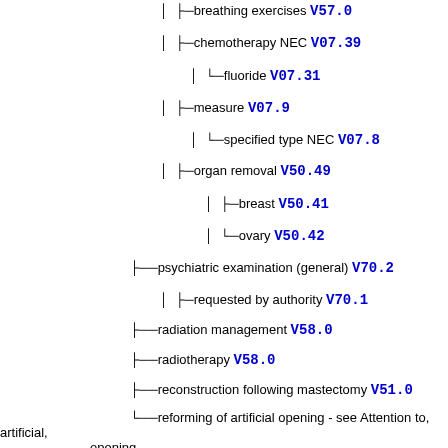breathing exercises V57.0
chemotherapy NEC V07.39
fluoride V07.31
measure V07.9
specified type NEC V07.8
organ removal V50.49
breast V50.41
ovary V50.42
psychiatric examination (general) V70.2
requested by authority V70.1
radiation management V58.0
radiotherapy V58.0
reconstruction following mastectomy V51.0
reforming of artificial opening - see Attention to, artificial, opening
rehabilitation V57.9
multiple types V57.89
occupational V57.21
orthoptic V57.4
orthotic V57.81
physical NEC V57.1
specified type NEC V57.89